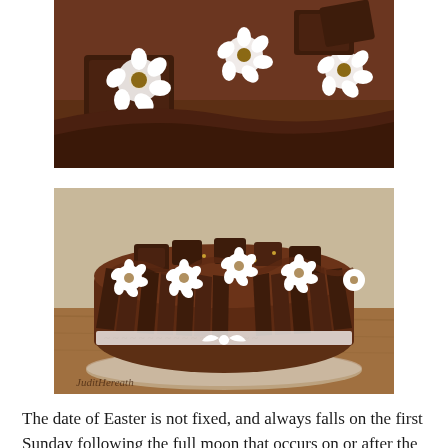[Figure (photo): Close-up photo of a chocolate cake decorated with white sugar flowers and chocolate pieces, viewed from above and to the side.]
[Figure (photo): Full photo of a round chocolate cake decorated with chocolate bars arranged around the edge, white sugar flowers on top, and tied with a white lace ribbon, sitting on a glass plate. Signed 'JuditHereath' in the lower left corner.]
The date of Easter is not fixed, and always falls on the first Sunday following the full moon that occurs on or after the